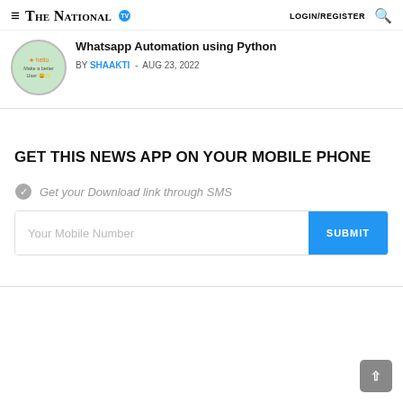The National — LOGIN/REGISTER
Whatsapp Automation using Python
BY SHAAKTI - AUG 23, 2022
GET THIS NEWS APP ON YOUR MOBILE PHONE
Get your Download link through SMS
Your Mobile Number — SUBMIT